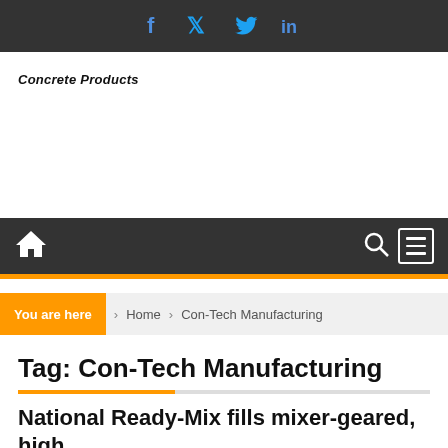f  🐦  in  (social media icons: Facebook, Twitter, LinkedIn)
Concrete Products
[Figure (other): Navigation bar with home icon on left, search and menu icons on right, dark background]
You are here  Home  Con-Tech Manufacturing
Tag: Con-Tech Manufacturing
National Ready-Mix fills mixer-geared, high